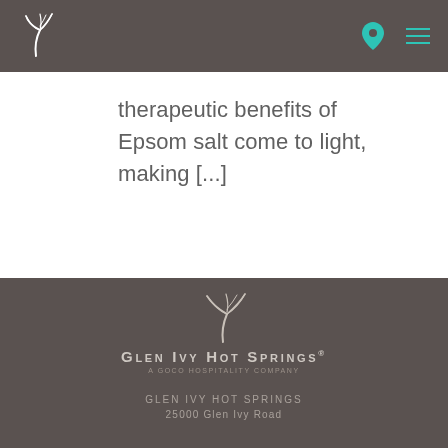Glen Ivy Hot Springs — site header with logo, location pin, and menu icon
therapeutic benefits of Epsom salt come to light, making [...]
[Figure (logo): Glen Ivy Hot Springs bird of paradise logo with text 'GLEN IVY HOT SPRINGS' and tagline 'A GOCO HOSPITALITY COMPANY' on dark taupe background]
GLEN IVY HOT SPRINGS
25000 Glen Ivy Road